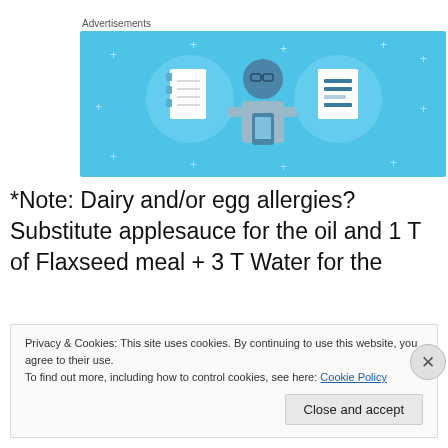Advertisements
[Figure (illustration): Advertisement banner with light blue background showing an illustrated character holding a phone, flanked by a notebook icon on the left and a list/document icon on the right, with small plus/star decorations]
*Note: Dairy and/or egg allergies? Substitute applesauce for the oil and 1 T of Flaxseed meal + 3 T Water for the
Privacy & Cookies: This site uses cookies. By continuing to use this website, you agree to their use.
To find out more, including how to control cookies, see here: Cookie Policy
Close and accept